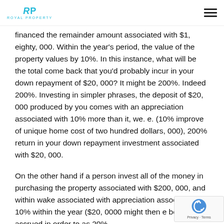RP ROYAL PROPERTY
financed the remainder amount associated with $1, eighty, 000. Within the year's period, the value of the property values by 10%. In this instance, what will be the total come back that you'd probably incur in your down repayment of $20, 000? It might be 200%. Indeed 200%. Investing in simpler phrases, the deposit of $20, 000 produced by you comes with an appreciation associated with 10% more than it, we. e. (10% improve of unique home cost of two hundred dollars, 000), 200% return in your down repayment investment associated with $20, 000.
On the other hand if a person invest all of the money in purchasing the property associated with $200, 000, and within wake associated with appreciation associated with 10% within the year ($20, 0000 might then e being accrued in order to as 20%.